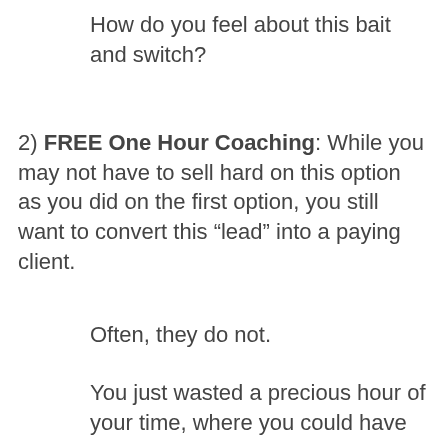How do you feel about this bait and switch?
2) FREE One Hour Coaching: While you may not have to sell hard on this option as you did on the first option, you still want to convert this “lead” into a paying client.
Often, they do not.
You just wasted a precious hour of your time, where you could have